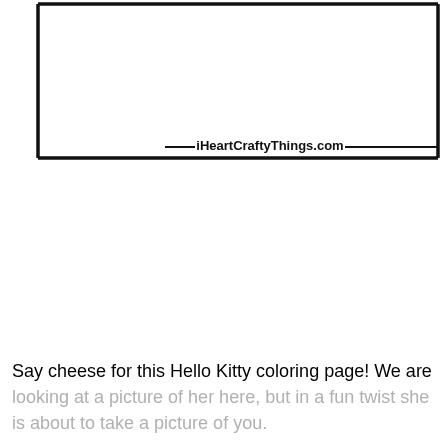[Figure (illustration): A rectangular bordered box (coloring page frame) with a thick black border on top, right side, and partial bottom. The bottom-right area has the text 'iHeartCraftyThings.com' in bold, serving as a watermark/attribution. The interior of the box is blank white (coloring page area).]
Say cheese for this Hello Kitty coloring page! We are looking at a picture of her here, but in a fun twist she is about to take a picture of you.